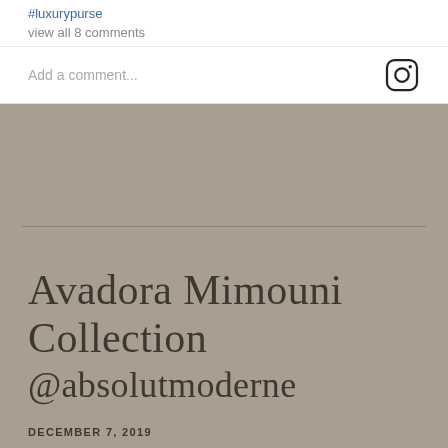#luxurypurse
view all 8 comments
Add a comment...
Avadora Mimouni Collection @absolutmoderne
DECEMBER 7, 2019